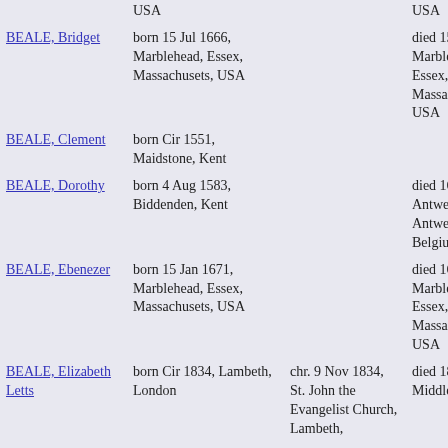| Name | Born | Christened | Died |
| --- | --- | --- | --- |
|  | USA |  | USA |
| BEALE, Bridget | born 15 Jul 1666, Marblehead, Essex, Massachusets, USA |  | died 15 Aug 1683, Marblehead, Essex, Massachusets, USA |
| BEALE, Clement | born Cir 1551, Maidstone, Kent |  |  |
| BEALE, Dorothy | born 4 Aug 1583, Biddenden, Kent |  | died 1663, Antwerpen, Antwerpen, Belgium |
| BEALE, Ebenezer | born 15 Jan 1671, Marblehead, Essex, Massachusets, USA |  | died 1695, Marblehead, Essex, Massachusets, USA |
| BEALE, Elizabeth Letts | born Cir 1834, Lambeth, London | chr. 9 Nov 1834, St. John the Evangelist Church, Lambeth, | died 1894, Middlesex |